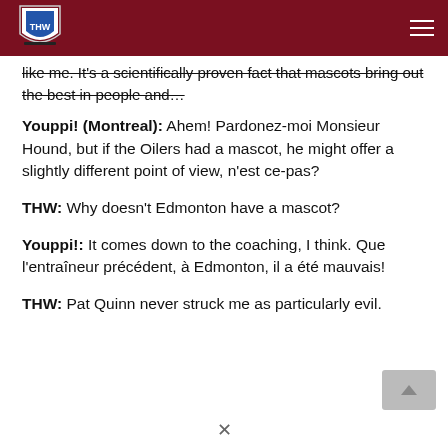THW
like me.  It's a scientifically proven fact that mascots bring out the best in people and…
Youppi! (Montreal): Ahem! Pardonez-moi Monsieur Hound, but if the Oilers had a mascot, he might offer a slightly different point of view,  n'est ce-pas?
THW: Why doesn't Edmonton have a mascot?
Youppi!: It comes down to the coaching, I think.  Que l'entraîneur précédent, à Edmonton, il a été mauvais!
THW:  Pat Quinn never struck me as particularly evil.